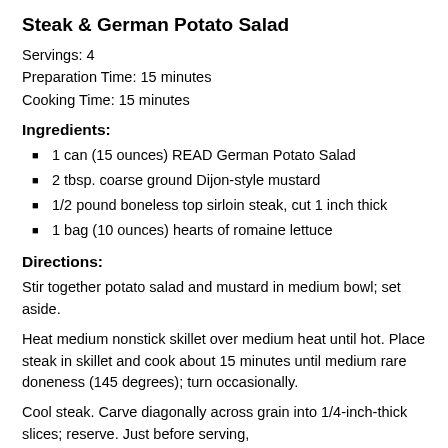Steak & German Potato Salad
Servings: 4
Preparation Time: 15 minutes
Cooking Time: 15 minutes
Ingredients:
1 can (15 ounces) READ German Potato Salad
2 tbsp. coarse ground Dijon-style mustard
1/2 pound boneless top sirloin steak, cut 1 inch thick
1 bag (10 ounces) hearts of romaine lettuce
Directions:
Stir together potato salad and mustard in medium bowl; set aside.
Heat medium nonstick skillet over medium heat until hot. Place steak in skillet and cook about 15 minutes until medium rare doneness (145 degrees); turn occasionally.
Cool steak. Carve diagonally across grain into 1/4-inch-thick slices; reserve. Just before serving,